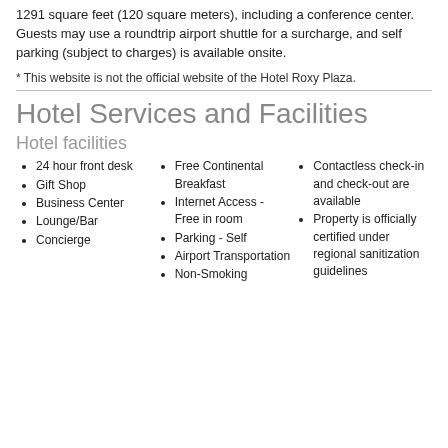1291 square feet (120 square meters), including a conference center. Guests may use a roundtrip airport shuttle for a surcharge, and self parking (subject to charges) is available onsite.
* This website is not the official website of the Hotel Roxy Plaza.
Hotel Services and Facilities
Hotel facilities
24 hour front desk
Gift Shop
Business Center
Lounge/Bar
Concierge
Free Continental Breakfast
Internet Access - Free in room
Parking - Self
Airport Transportation
Non-Smoking
Contactless check-in and check-out are available
Property is officially certified under regional sanitization guidelines